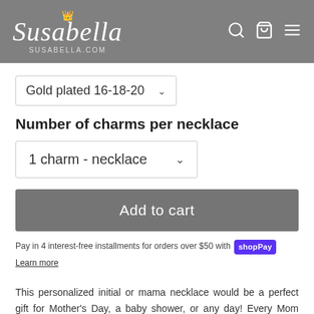Susabella SUSABELLA.COM
Gold plated 16-18-20
Number of charms per necklace
1 charm - necklace
Add to cart
Pay in 4 interest-free installments for orders over $50 with Shop Pay Learn more
This personalized initial or mama necklace would be a perfect gift for Mother's Day, a baby shower, or any day! Every Mom deserves something special. The charm is approximately .25 inches and is hung on a 16", 18" or 20"